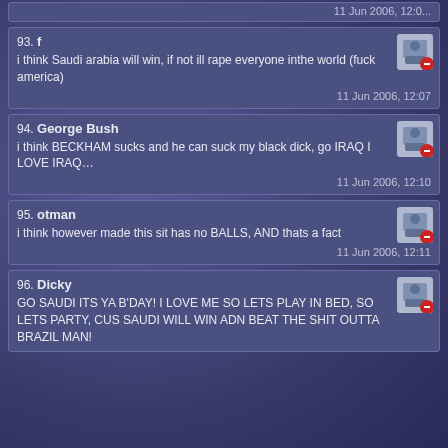(partial top card visible)
93. f
i think Saudi arabia will win, if not ill rape everyone inthe world (fuck america)
11 Jun 2006, 12:07
94. George Bush
i think BECKHAM sucks and he can suck my black dick, go IRAQ I LOVE IRAQ...
11 Jun 2006, 12:10
95. otman
i think however made this sit has no BALLS, AND thats a fact
11 Jun 2006, 12:11
96. Dicky
GO SAUDI ITS YA B'DAY! I LOVE ME SO LETS PLAY IN BED, SO LETS PARTY, CUS SAUDI WILL WIN ADN BEAT THE SHIT OUTTA BRAZIL MAN!